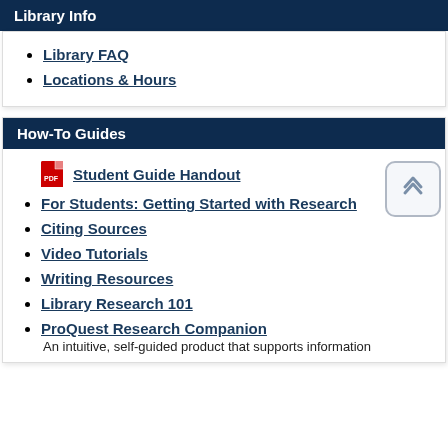Library Info
Library FAQ
Locations & Hours
How-To Guides
Student Guide Handout
For Students: Getting Started with Research
Citing Sources
Video Tutorials
Writing Resources
Library Research 101
ProQuest Research Companion
An intuitive, self-guided product that supports information